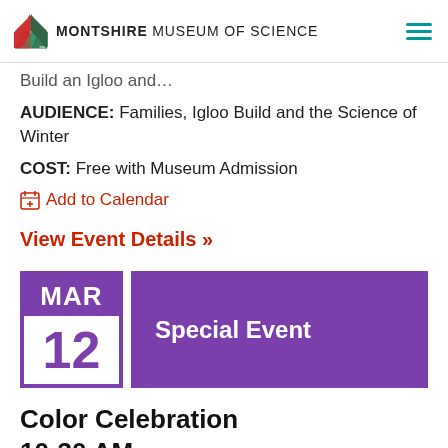MONTSHIRE MUSEUM OF SCIENCE
Build an Igloo and…
AUDIENCE: Families, Igloo Build and the Science of Winter
COST: Free with Museum Admission
Add to Calendar
View Event Details »
MAR 12 Special Event
Color Celebration
10:30 AM